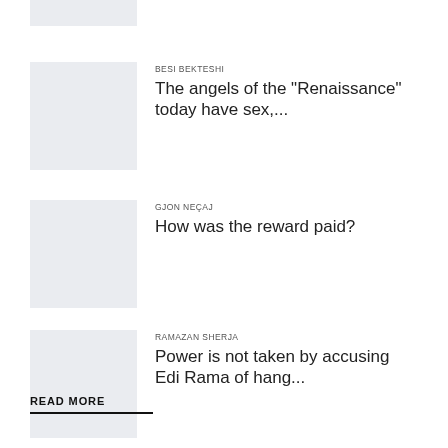[Figure (photo): Partial thumbnail image at top, cropped]
BESI BEKTESHI
The angels of the "Renaissance" today have sex,...
[Figure (photo): Thumbnail placeholder image]
GJON NEÇAJ
How was the reward paid?
[Figure (photo): Thumbnail placeholder image]
RAMAZAN SHERJA
Power is not taken by accusing Edi Rama of hang...
READ MORE